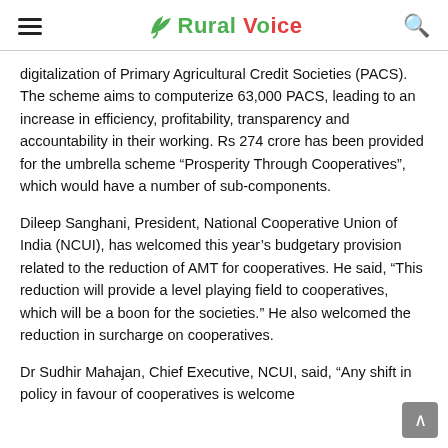Rural Voice
digitalization of Primary Agricultural Credit Societies (PACS). The scheme aims to computerize 63,000 PACS, leading to an increase in efficiency, profitability, transparency and accountability in their working. Rs 274 crore has been provided for the umbrella scheme “Prosperity Through Cooperatives”, which would have a number of sub-components.
Dileep Sanghani, President, National Cooperative Union of India (NCUI), has welcomed this year’s budgetary provision related to the reduction of AMT for cooperatives. He said, “This reduction will provide a level playing field to cooperatives, which will be a boon for the societies.” He also welcomed the reduction in surcharge on cooperatives.
Dr Sudhir Mahajan, Chief Executive, NCUI, said, “Any shift in policy in favour of cooperatives is welcome…